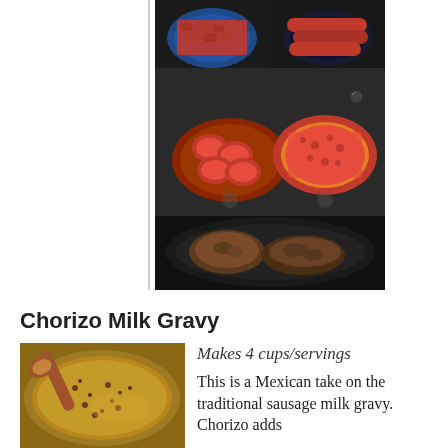[Figure (photo): Three stacked food photos: top row shows raw chorizo and sausages in blue bowls, middle shows sliced and ground chorizo in pans on a stove, bottom shows cooked chorizo patties in a black skillet]
Chorizo Milk Gravy
[Figure (photo): Photo of chorizo milk gravy in a pan being stirred with a wooden spoon]
Makes 4 cups/servings
This is a Mexican take on the traditional sausage milk gravy. Chorizo adds